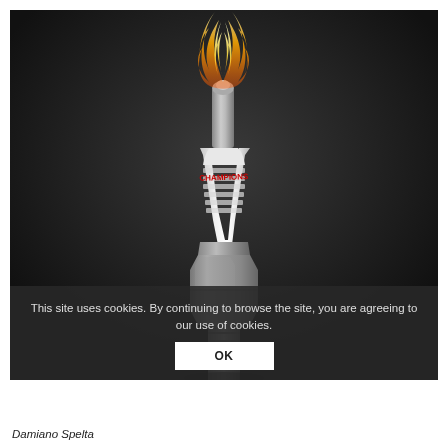[Figure (photo): A spark plug (Champion brand) with a flame burning from its tip, set against a dark background. The spark plug has a white ceramic insulator with red 'Champion' text, a silver metal hex body, and a metallic tip from which an orange flame rises.]
This site uses cookies. By continuing to browse the site, you are agreeing to our use of cookies.
OK
Damiano Spelta